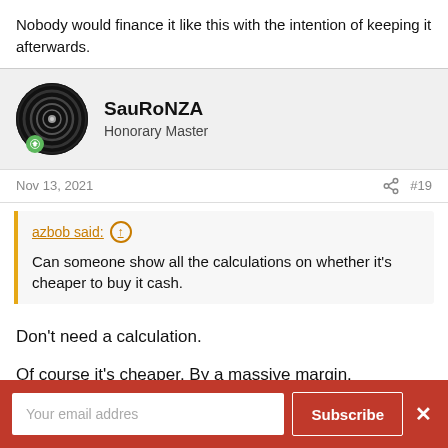Nobody would finance it like this with the intention of keeping it afterwards.
SauRoNZA
Honorary Master
Nov 13, 2021  #19
azbob said: ↑
Can someone show all the calculations on whether it's cheaper to buy it cash.
Don't need a calculation.
Of course it's cheaper. By a massive margin.
Your email addres  Subscribe  ✕